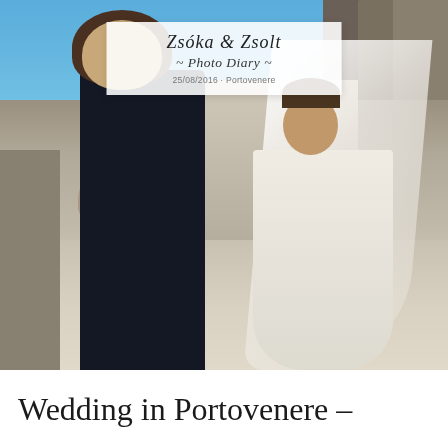[Figure (photo): Wedding photo of a bride and groom seen from behind, holding hands and walking toward stone steps leading to a castle/fortress in Portovenere, Italy. The bride is in a white dress with a long veil, the groom in a dark suit. The scene is sunny with blue sky and stone architecture. A decorative overlay banner in white reads 'Zsóka & Zsolt ~ Photo Diary ~ 25/08/2016 · Portovenere'.]
Wedding in Portovenere –